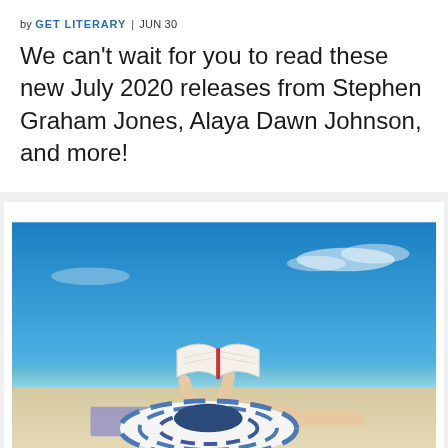by GET LITERARY | JUN 30
We can't wait for you to read these new July 2020 releases from Stephen Graham Jones, Alaya Dawn Johnson, and more!
[Figure (photo): Woman lying on a sandy beach reading a book, wearing a wide-brimmed blue and white striped sun hat, with a bright blue sky in the background.]